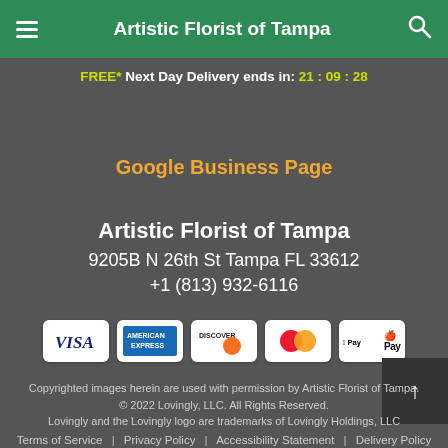Artistic Florist of Tampa
FREE* Next Day Delivery ends in: 21:09:28
Google Business Page
Artistic Florist of Tampa
9205B N 26th St Tampa FL 33612
+1 (813) 932-6116
[Figure (other): Payment method icons: Visa, American Express, Discover, Mastercard, Apple Pay]
Copyrighted images herein are used with permission by Artistic Florist of Tampa.
© 2022 Lovingly, LLC. All Rights Reserved.
Lovingly and the Lovingly logo are trademarks of Lovingly Holdings, LLC
Terms of Service | Privacy Policy | Accessibility Statement | Delivery Policy